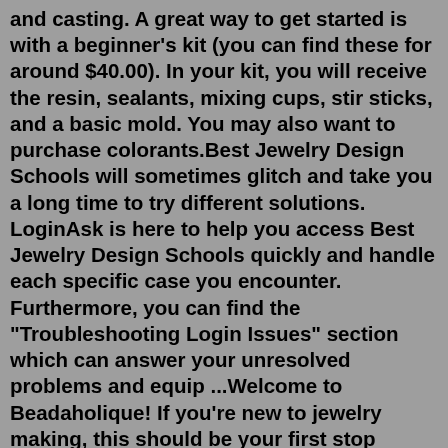and casting. A great way to get started is with a beginner's kit (you can find these for around $40.00). In your kit, you will receive the resin, sealants, mixing cups, stir sticks, and a basic mold. You may also want to purchase colorants.Best Jewelry Design Schools will sometimes glitch and take you a long time to try different solutions. LoginAsk is here to help you access Best Jewelry Design Schools quickly and handle each specific case you encounter. Furthermore, you can find the "Troubleshooting Login Issues" section which can answer your unresolved problems and equip ...Welcome to Beadaholique! If you're new to jewelry making, this should be your first stop before exploring our other techniques and guides, which include valuable "bead-ucation" resource pages such as Stringing 101, Bead Weaving 101 and more. Read on and find instructional videos, project tutorials, and product recommendations to introduce basic skills and techniques and get you started on your ... Students may only reschedule once... Within 48 hours, no...